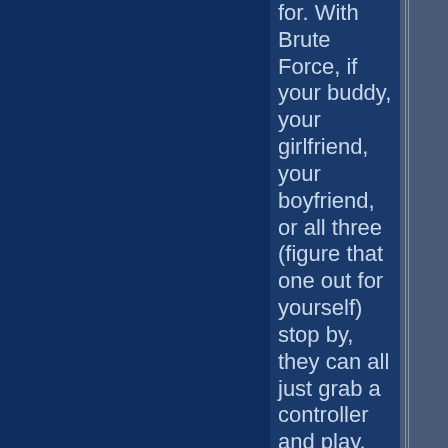for. With Brute Force, if your buddy, your girlfriend, your boyfriend, or all three (figure that one out for yourself) stop by, they can all just grab a controller and play. All of the characters are already there, anyway.